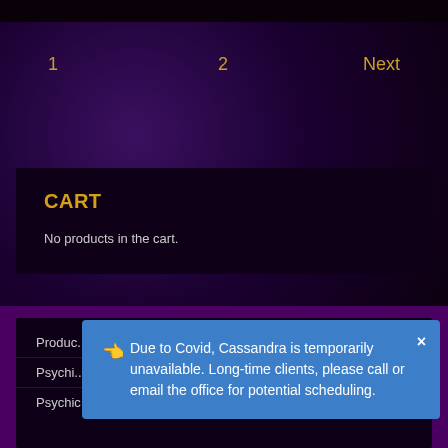1   2   Next
CART
No products in the cart.
Product
Psychi...
Psychic Medium Session
👈 Due to Covid, Cassandra is temporarily unavailable. Long-time clients, please call or email the office for potential scheduling.